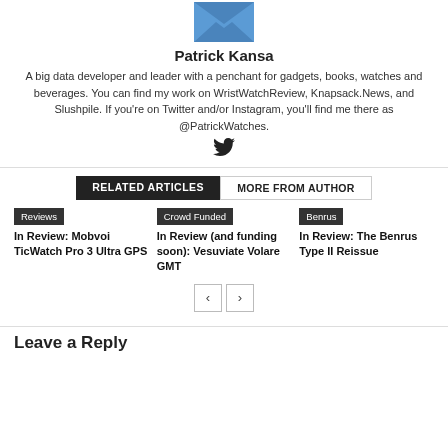[Figure (illustration): Blue envelope icon (author avatar) at top center]
Patrick Kansa
A big data developer and leader with a penchant for gadgets, books, watches and beverages. You can find my work on WristWatchReview, Knapsack.News, and Slushpile. If you're on Twitter and/or Instagram, you'll find me there as @PatrickWatches.
[Figure (logo): Twitter bird icon]
RELATED ARTICLES | MORE FROM AUTHOR
Reviews
In Review: Mobvoi TicWatch Pro 3 Ultra GPS
Crowd Funded
In Review (and funding soon): Vesuviate Volare GMT
Benrus
In Review: The Benrus Type II Reissue
Leave a Reply